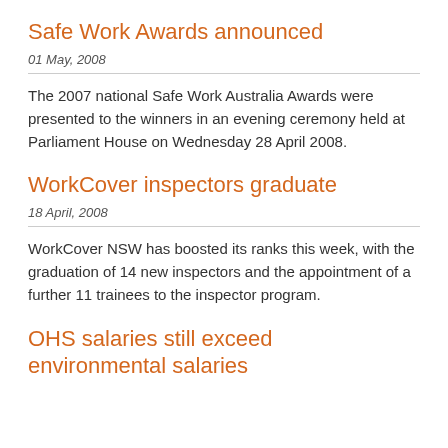Safe Work Awards announced
01 May, 2008
The 2007 national Safe Work Australia Awards were presented to the winners in an evening ceremony held at Parliament House on Wednesday 28 April 2008.
WorkCover inspectors graduate
18 April, 2008
WorkCover NSW has boosted its ranks this week, with the graduation of 14 new inspectors and the appointment of a further 11 trainees to the inspector program.
OHS salaries still exceed environmental salaries